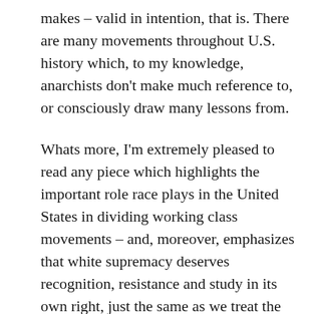makes – valid in intention, that is. There are many movements throughout U.S. history which, to my knowledge, anarchists don't make much reference to, or consciously draw many lessons from.
Whats more, I'm extremely pleased to read any piece which highlights the important role race plays in the United States in dividing working class movements – and, moreover, emphasizes that white supremacy deserves recognition, resistance and study in its own right, just the same as we treat the subject of power; or, as the author wants, as an integral part of understanding power itself in the United States.